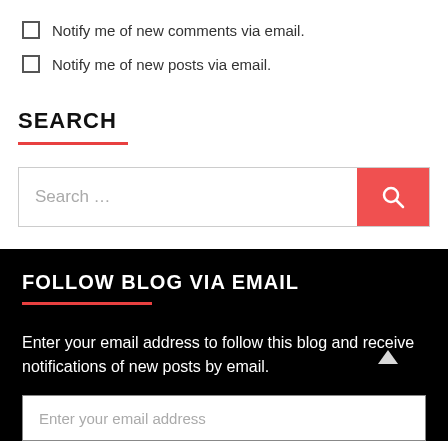Notify me of new comments via email.
Notify me of new posts via email.
SEARCH
Search …
FOLLOW BLOG VIA EMAIL
Enter your email address to follow this blog and receive notifications of new posts by email.
Enter your email address